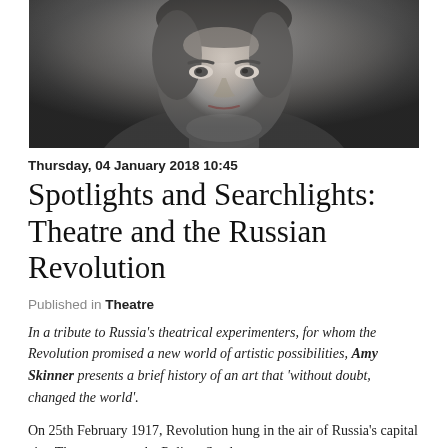[Figure (photo): Black and white close-up portrait photograph of a man looking intensely at the camera, wearing a jacket with a scarf or tie around his neck.]
Thursday, 04 January 2018 10:45
Spotlights and Searchlights: Theatre and the Russian Revolution
Published in Theatre
In a tribute to Russia's theatrical experimenters, for whom the Revolution promised a new world of artistic possibilities, Amy Skinner presents a brief history of an art that 'without doubt, changed the world'.
On 25th February 1917, Revolution hung in the air of Russia's capital city. The protests at the Pulitov Steel